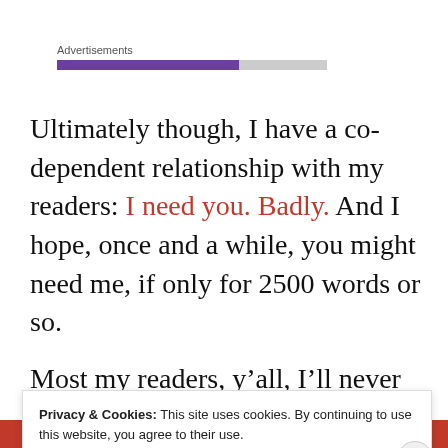[Figure (other): Advertisements progress bar with purple and gray segments]
Ultimately though, I have a co-dependent relationship with my readers: I need you. Badly. And I hope, once and a while, you might need me, if only for 2500 words or so.
Most my readers, y’all, I’ll never meet; most of you live
Privacy & Cookies: This site uses cookies. By continuing to use this website, you agree to their use. To find out more, including how to control cookies, see here: Cookie Policy
Close and accept